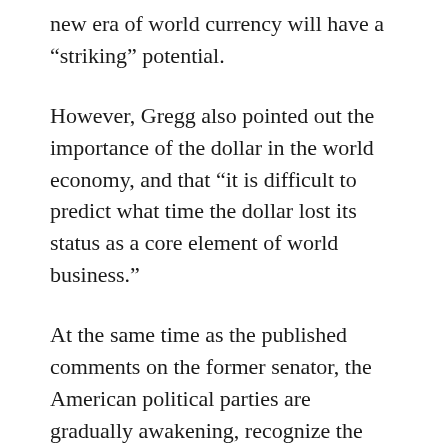new era of world currency will have a “striking” potential.
However, Gregg also pointed out the importance of the dollar in the world economy, and that “it is difficult to predict what time the dollar lost its status as a core element of world business.”
At the same time as the published comments on the former senator, the American political parties are gradually awakening, recognize the possibility of contain encryption currency and block chain technology in technical and financial aspects.